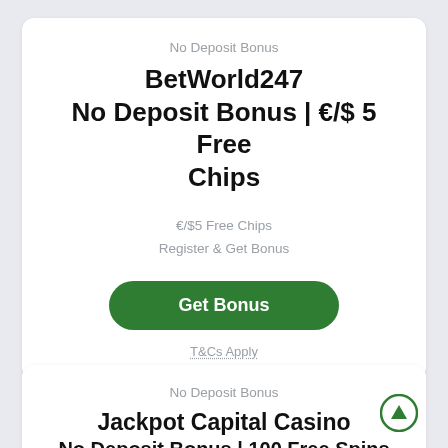No Deposit Bonus
BetWorld247 No Deposit Bonus | €/$ 5 Free Chips
€/$5 Free Chips
Register & Get Bonus
Get Bonus
T&Cs Apply
No Deposit Bonus
Jackpot Capital Casino No Deposit Bonus | 100 Free Spins